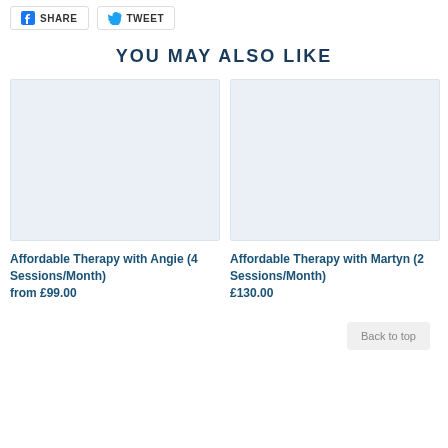[Figure (screenshot): Facebook Share button with FB icon and Twitter Tweet button with bird icon]
YOU MAY ALSO LIKE
[Figure (photo): Blank light blue placeholder image for Affordable Therapy with Angie product]
Affordable Therapy with Angie (4 Sessions/Month)
from £99.00
[Figure (photo): Blank light blue placeholder image for Affordable Therapy with Martyn product]
Affordable Therapy with Martyn (2 Sessions/Month)
£130.00